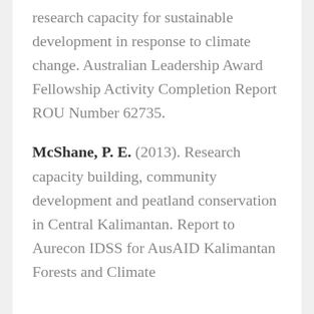research capacity for sustainable development in response to climate change.  Australian Leadership Award Fellowship Activity Completion Report ROU Number 62735.
McShane, P. E. (2013).  Research capacity building, community development and peatland conservation in Central Kalimantan. Report to Aurecon IDSS for AusAID Kalimantan Forests and Climate